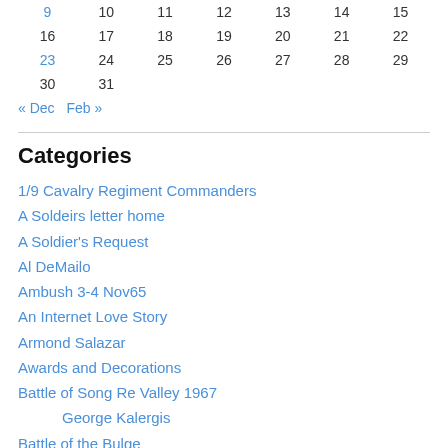| 9 | 10 | 11 | 12 | 13 | 14 | 15 |
| 16 | 17 | 18 | 19 | 20 | 21 | 22 |
| 23 | 24 | 25 | 26 | 27 | 28 | 29 |
| 30 | 31 |  |  |  |  |  |
« Dec   Feb »
Categories
1/9 Cavalry Regiment Commanders
A Soldeirs letter home
A Soldier's Request
Al DeMailo
Ambush 3-4 Nov65
An Internet Love Story
Armond Salazar
Awards and Decorations
Battle of Song Re Valley 1967
George Kalergis
Battle of the Bulge